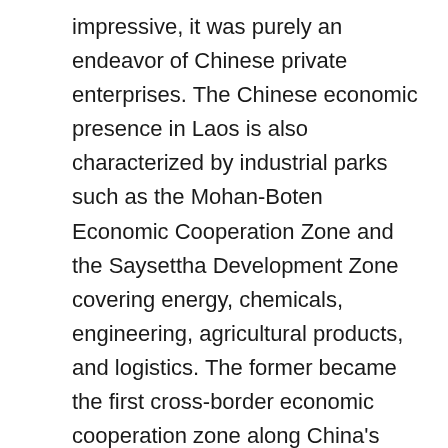impressive, it was purely an endeavor of Chinese private enterprises. The Chinese economic presence in Laos is also characterized by industrial parks such as the Mohan-Boten Economic Cooperation Zone and the Saysettha Development Zone covering energy, chemicals, engineering, agricultural products, and logistics. The former became the first cross-border economic cooperation zone along China's southwestern borders. The Kyaukpyu Special Economic Zone and Baoshan-Mandalay Economic and Trade Cooperation Zone are results of joint efforts between China and Myanmar. The relatively greater development of Thailand and Vietnam has facilitated deeper cooperation with China. Typical projects include Rayong Industrial